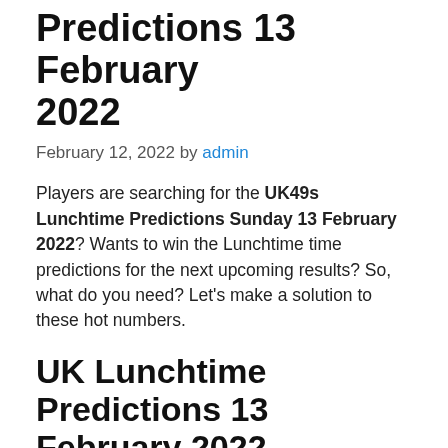Predictions 13 February 2022
February 12, 2022 by admin
Players are searching for the UK49s Lunchtime Predictions Sunday 13 February 2022? Wants to win the Lunchtime time predictions for the next upcoming results? So, what do you need? Let’s make a solution to these hot numbers.
UK Lunchtime Predictions 13 February 2022
Our UK 49s predictions have announced the